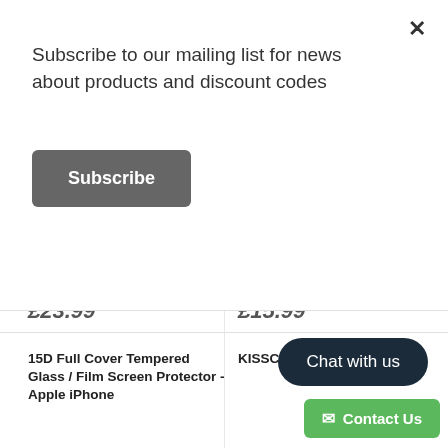Subscribe to our mailing list for news about products and discount codes
Subscribe
£23.99
£15.99
15D Full Cover Tempered Glass / Film Screen Protector - Apple iPhone
KISSCASE ral PU Flip Apple i
Chat with us
Contact Us